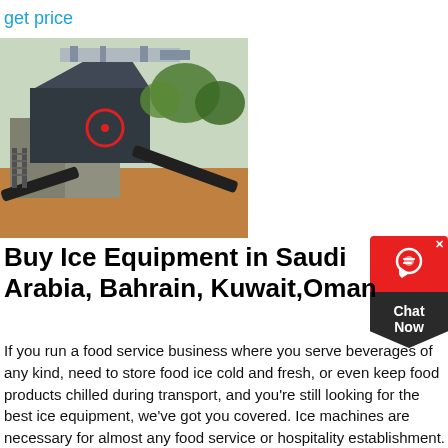get price
[Figure (photo): Outdoor industrial crushing/mining equipment on a construction or quarry site, with machinery, conveyor belts, and red-circled component visible. Green trees in background, sandy/rocky ground.]
[Figure (other): Chat Now widget — red rounded rectangle with headset icon and X close button on top, dark pentagon-shaped bottom with 'Chat Now' text]
Buy Ice Equipment in Saudi Arabia, Bahrain, Kuwait,Oman
If you run a food service business where you serve beverages of any kind, need to store food ice cold and fresh, or even keep food products chilled during transport, and you're still looking for the best ice equipment, we've got you covered. Ice machines are necessary for almost any food service or hospitality establishment. You can choose from a very wide selection of ice dispensers, ice...